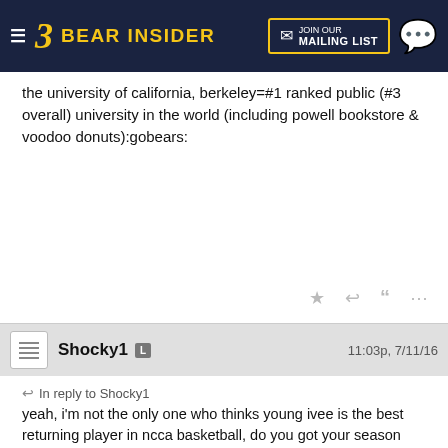3 BEAR INSIDER | JOIN OUR MAILING LIST
the university of california, berkeley=#1 ranked public (#3 overall) university in the world (including powell bookstore & voodoo donuts):gobears:
Shocky1  L  11:03p, 7/11/16
In reply to Shocky1
yeah, i'm not the only one who thinks young ivee is the best returning player in ncca basketball, do you got your season tix(s) for the upcoming epic gamedays in berkeley?
http://us13.campaign-archive1.com/?u=2ad795dc45c0a7fcf73798a54&id=96014169a9
[Figure (screenshot): Thumbnail image placeholder with mountain/image icon]
[Figure (screenshot): YouTube video thumbnail showing Kanye West - Diamo... with play button]